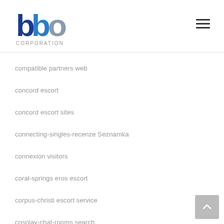[Figure (logo): BBP Corporation logo with stylized blue and grey letters and 'CORPORATION' text below]
compatible partners web
concord escort
concord escort sites
connecting-singles-recenze Seznamka
connexion visitors
coral-springs eros escort
corpus-christi escort service
cosplay-chat-rooms search
costa-mesa escort near me